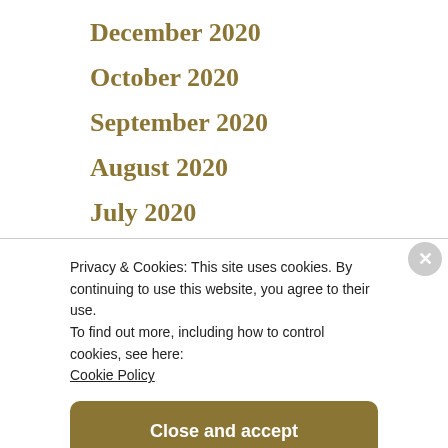December 2020
October 2020
September 2020
August 2020
July 2020
June 2020
May 2020
April 2020
March 2020
Privacy & Cookies: This site uses cookies. By continuing to use this website, you agree to their use.
To find out more, including how to control cookies, see here: Cookie Policy
Close and accept